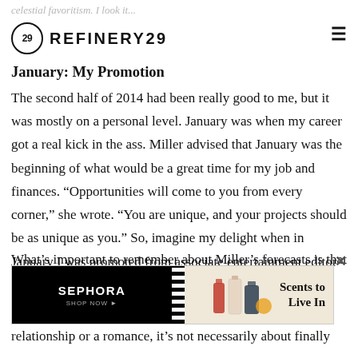celestial favoritism. I look it...
[Figure (logo): Refinery29 logo with circle containing '29' and bold text 'REFINERY29', plus hamburger menu icon]
January: My Promotion
The second half of 2014 had been really good to me, but it was mostly on a personal level. January was when my career got a real kick in the ass. Miller advised that January was the beginning of what would be a great time for my job and finances. “Opportunities will come to you from every corner,” she wrote. “You are unique, and your projects should be as unique as you.” So, imagine my delight when in January I was promoted from associate entertainment editor to features writer. Essentially, it was a blessing from Refinery29 to spread my editorial wings, get weird, and dream big. February: My Love Affair
What’s important to remember about Miller’s forecasts is that th
[Figure (screenshot): Sephora advertisement banner: black left panel with SEPHORA logo and SHOP NOW button, striped divider, right panel showing perfume bottles with text 'Scents to Live In']
relationship or a romance, it’s not necessarily about finally